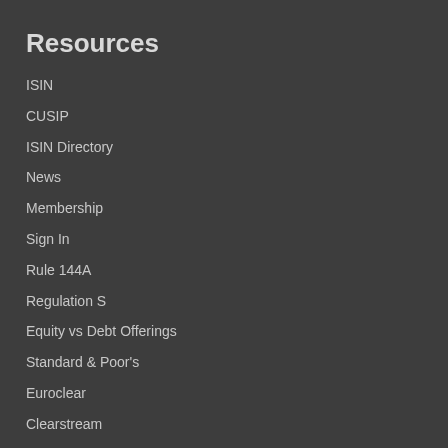Resources
ISIN
CUSIP
ISIN Directory
News
Membership
Sign In
Rule 144A
Regulation S
Equity vs Debt Offerings
Standard & Poor's
Euroclear
Clearstream